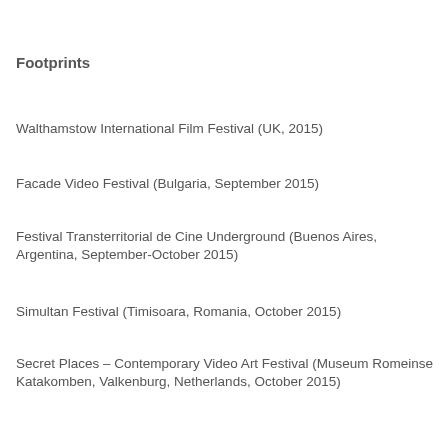Footprints
Walthamstow International Film Festival (UK, 2015)
Facade Video Festival (Bulgaria, September 2015)
Festival Transterritorial de Cine Underground (Buenos Aires, Argentina, September-October 2015)
Simultan Festival (Timisoara, Romania, October 2015)
Secret Places – Contemporary Video Art Festival (Museum Romeinse Katakomben, Valkenburg, Netherlands, October 2015)